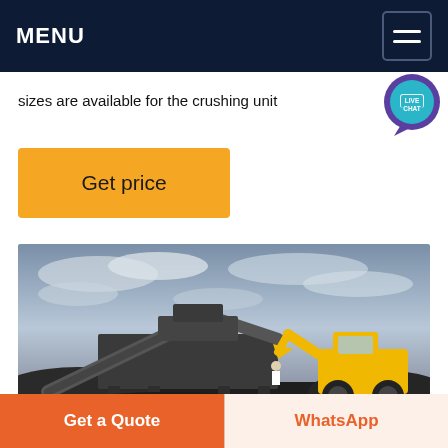MENU
sizes are available for the crushing unit
Get price
[Figure (photo): Industrial mobile crushing unit with yellow wheel loader operating at a quarry/mining site, with conveyor belts and crushing machinery under a cloudy sky]
Get a Quote
WhatsApp